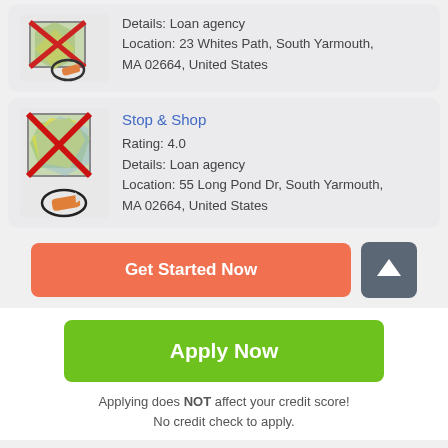Details: Loan agency
Location: 23 Whites Path, South Yarmouth, MA 02664, United States
Stop & Shop
Rating: 4.0
Details: Loan agency
Location: 55 Long Pond Dr, South Yarmouth, MA 02664, United States
Get Started Now
Apply Now
Applying does NOT affect your credit score!
No credit check to apply.